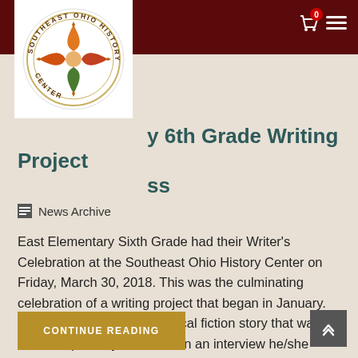[Figure (logo): Southeast Ohio History Center circular logo with colorful star/leaf design]
East Elementary 6th Grade Writing Project Writers Celebration Process
News Archive
East Elementary Sixth Grade had their Writer's Celebration at the Southeast Ohio History Center on Friday, March 30, 2018. This was the culminating celebration of a writing project that began in January. Each student wrote a historical fiction story that was either inspired by or based on an interview he/she
CONTINUE READING